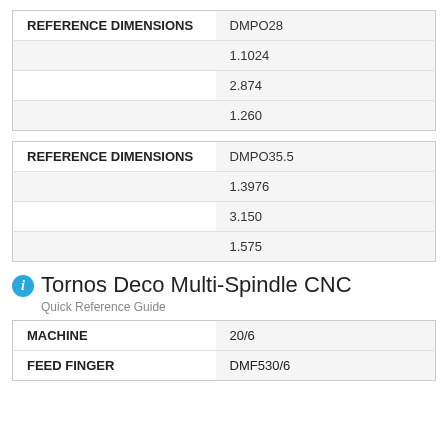| REFERENCE DIMENSIONS |  |
| --- | --- |
| REFERENCE DIMENSIONS | DMPO28 |
|  | 1.1024 |
|  | 2.874 |
|  | 1.260 |
| REFERENCE DIMENSIONS |  |
| --- | --- |
| REFERENCE DIMENSIONS | DMPO35.5 |
|  | 1.3976 |
|  | 3.150 |
|  | 1.575 |
Tornos Deco Multi-Spindle CNC
Quick Reference Guide
| MACHINE |  |
| --- | --- |
| MACHINE | 20/6 |
| FEED FINGER | DMF530/6 |